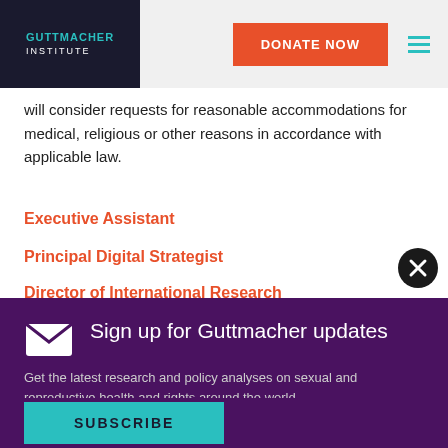GUTTMACHER INSTITUTE
will consider requests for reasonable accommodations for medical, religious or other reasons in accordance with applicable law.
Executive Assistant
Principal Digital Strategist
Director of International Research
Sign up for Guttmacher updates
Get the latest research and policy analyses on sexual and reproductive health and rights around the world.
SUBSCRIBE